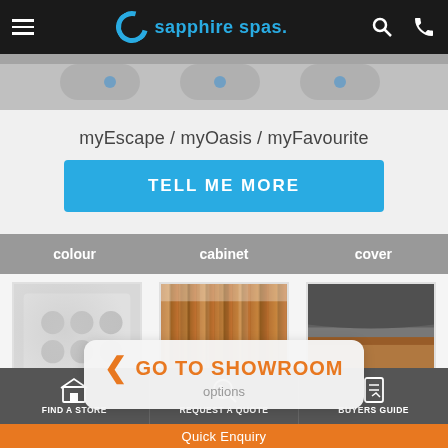sapphire spas. — navigation header with hamburger menu, logo, search, phone icons
[Figure (photo): Partial top view of a spa/hot tub showing jets and controls, grey background strip]
myEscape / myOasis / myFavourite
TELL ME MORE
| colour | cabinet | cover |
| --- | --- | --- |
| Silverwhite | EnviroGum | Slate Grey |
[Figure (photo): Silverwhite — close-up of white/grey spa interior with jets and controls]
[Figure (photo): EnviroGum — close-up of wood-look cabinet panels in warm brown tones]
[Figure (photo): Slate Grey — close-up of slate grey spa cover corner with wooden cabinet below]
GO TO SHOWROOM
options
FIND A STORE  |  REQUEST A QUOTE  |  BUYERS GUIDE
Quick Enquiry